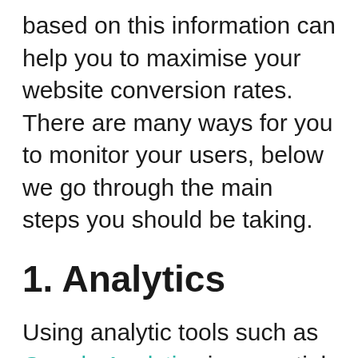based on this information can help you to maximise your website conversion rates. There are many ways for you to monitor your users, below we go through the main steps you should be taking.
1. Analytics
Using analytic tools such as Google Analytics is essential for website owners as it can tell you a vast amount of information about your users.